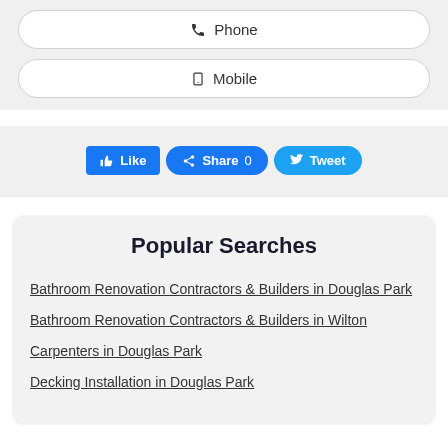Phone
Mobile
[Figure (other): Social sharing buttons: Like, Share 0, Tweet]
Popular Searches
Bathroom Renovation Contractors & Builders in Douglas Park
Bathroom Renovation Contractors & Builders in Wilton
Carpenters in Douglas Park
Decking Installation in Douglas Park